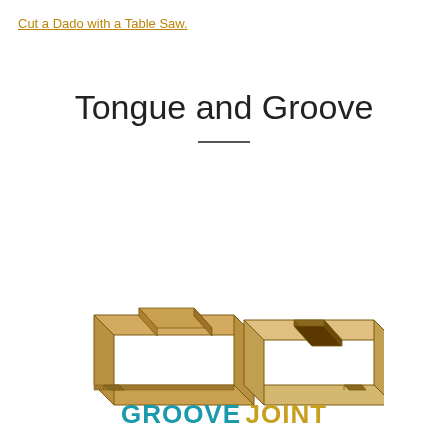Cut a Dado with a Table Saw.
Tongue and Groove
[Figure (illustration): Two wooden boards shown in isometric/3D view side by side. The left board has a protruding tongue (ridge) running along its length. The right board has a groove (slot) cut along its length. Both boards are shown in a golden-tan wood color with brown outlines, illustrating a tongue and groove joint.]
GROOVE JOINT